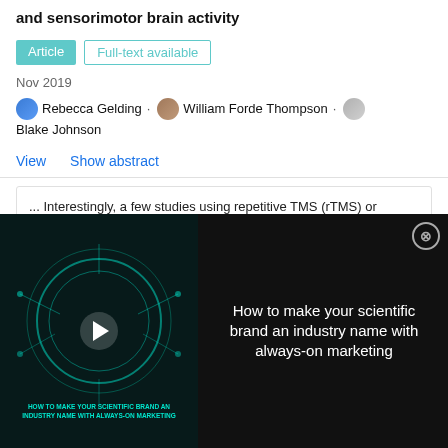and sensorimotor brain activity
Article   Full-text available
Nov 2019
Rebecca Gelding · William Forde Thompson · Blake Johnson
View   Show abstract
... Interestingly, a few studies using repetitive TMS (rTMS) or transcranial direct stimulation (tDCS) have
[Figure (screenshot): Video thumbnail overlay showing 'How to make your scientific brand an industry name with always-on marketing' with a play button on a dark teal background, and a close/X button in the upper right corner.]
[Figure (photo): Neurobiology Handbook book cover with blue background showing neural imagery, ThermoFisher Scientific logo, with title 'Neurobiology Handbook' beside it.]